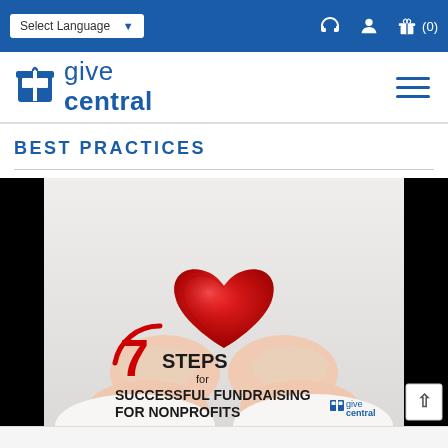Select Language | give central navigation | cart (0)
[Figure (logo): Give Central logo with gift box icon and text 'give central']
BEST PRACTICES
[Figure (illustration): Promotional image showing hands holding a red heart, with text '7 STEPS for SUCCESSFUL FUNDRAISING FOR NONPROFITS' and Give Central logo]